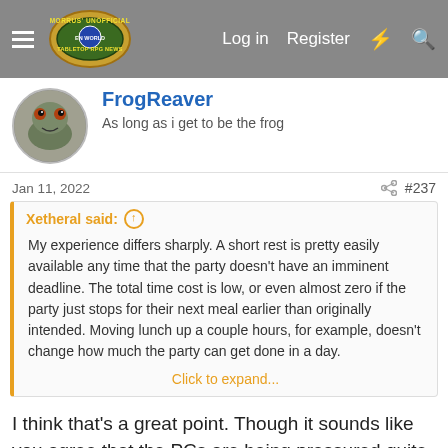Morrus' Unofficial Tabletop RPG News — Log in  Register
FrogReaver
As long as i get to be the frog
Jan 11, 2022  #237
Xetheral said: My experience differs sharply. A short rest is pretty easily available any time that the party doesn't have an imminent deadline. The total time cost is low, or even almost zero if the party just stops for their next meal earlier than originally intended. Moving lunch up a couple hours, for example, doesn't change how much the party can get done in a day. Click to expand...
I think that's a great point. Though it sounds like you agree that the PCs are being pressured quite a bit -'the world doesn't wait around on them'.